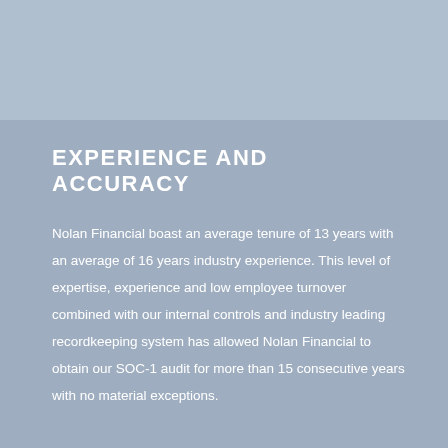EXPERIENCE AND ACCURACY
Nolan Financial boast an average tenure of 13 years with an average of 16 years industry experience. This level of expertise, experience and low employee turnover combined with our internal controls and industry leading recordkeeping system has allowed Nolan Financial to obtain our SOC-1 audit for more than 15 consecutive years with no material exceptions.